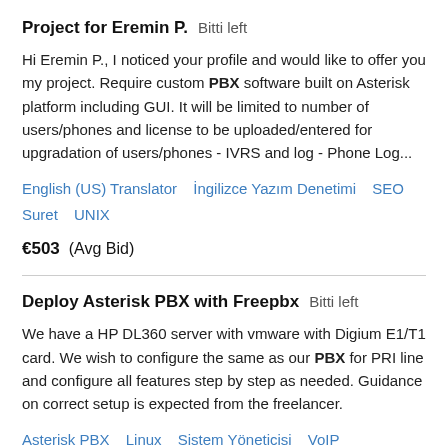Project for Eremin P.  Bitti left
Hi Eremin P., I noticed your profile and would like to offer you my project. Require custom PBX software built on Asterisk platform including GUI. It will be limited to number of users/phones and license to be uploaded/entered for upgradation of users/phones - IVRS and log - Phone Log...
English (US) Translator  İngilizce Yazım Denetimi  SEO Suret  UNIX
€503  (Avg Bid)
Deploy Asterisk PBX with Freepbx  Bitti left
We have a HP DL360 server with vmware with Digium E1/T1 card. We wish to configure the same as our PBX for PRI line and configure all features step by step as needed. Guidance on correct setup is expected from the freelancer.
Asterisk PBX  Linux  Sistem Yöneticisi  VoIP